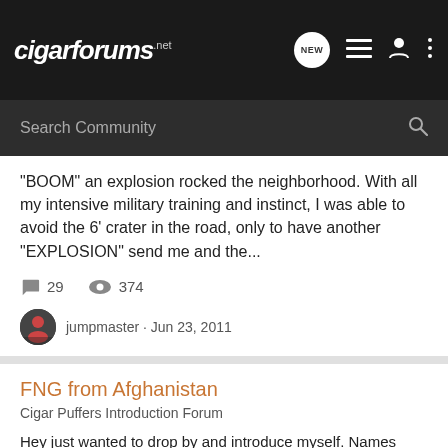cigarforums.net
Search Community
"BOOM" an explosion rocked the neighborhood. With all my intensive military training and instinct, I was able to avoid the 6' crater in the road, only to have another "EXPLOSION" send me and the...
29  374
jumpmaster · Jun 23, 2011
afghanistan  chained  daisy  headed  hit  ieds  newbie  set
FNG from Afghanistan
Cigar Puffers Introduction Forum
Hey just wanted to drop by and introduce myself. Names Tom and I am a contractor for the US Army, presently serving